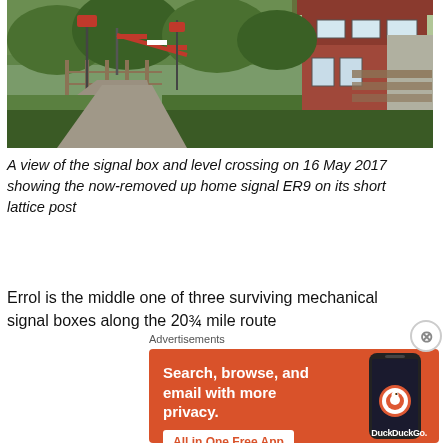[Figure (photo): A view of a level crossing with signal box (red brick building), level crossing barriers with red and white stripes, railway signals on lattice posts, and a gravel path, surrounded by trees and greenery.]
A view of the signal box and level crossing on 16 May 2017 showing the now-removed up home signal ER9 on its short lattice post
Errol is the middle one of three surviving mechanical signal boxes along the 20¾ mile route
[Figure (screenshot): DuckDuckGo advertisement: Search, browse, and email with more privacy. All in One Free App. Shows a phone with DuckDuckGo app.]